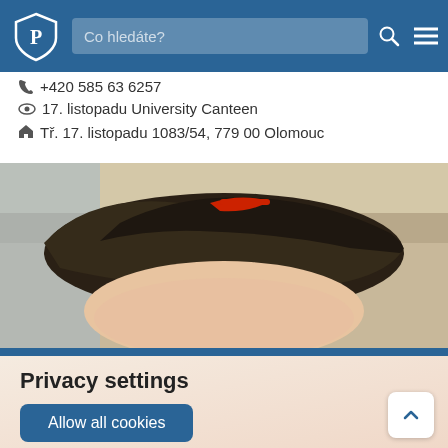[Figure (screenshot): University website navigation bar with blue background, university shield logo, search box with placeholder 'Co hledáte?', search icon, and hamburger menu icon]
+420 585 63 6257
17. listopadu University Canteen
Tř. 17. listopadu 1083/54, 779 00 Olomouc
[Figure (photo): Close-up photo of the top of a person's head with dark hair and a red hair clip, blurred background]
Privacy settings
Allow all cookies
More...